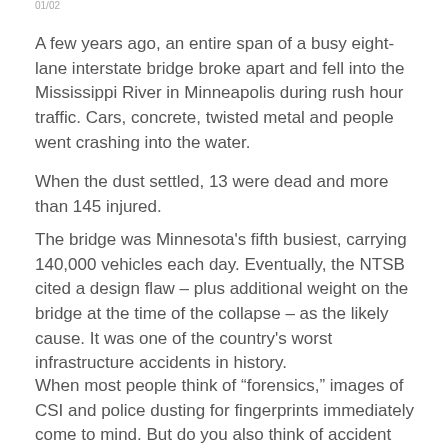01/02
A few years ago, an entire span of a busy eight-lane interstate bridge broke apart and fell into the Mississippi River in Minneapolis during rush hour traffic. Cars, concrete, twisted metal and people went crashing into the water.
When the dust settled, 13 were dead and more than 145 injured.
The bridge was Minnesota's fifth busiest, carrying 140,000 vehicles each day. Eventually, the NTSB cited a design flaw – plus additional weight on the bridge at the time of the collapse – as the likely cause. It was one of the country's worst infrastructure accidents in history.
When most people think of “forensics,” images of CSI and police dusting for fingerprints immediately come to mind. But do you also think of accident reconstruction and…